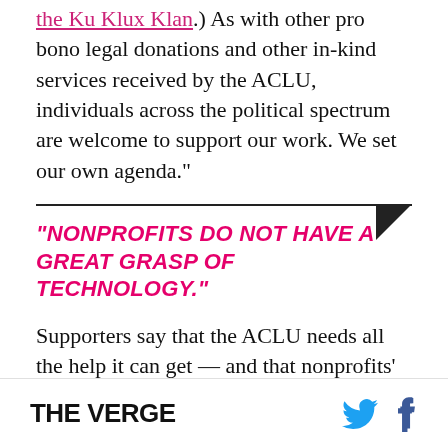the Ku Klux Klan.) As with other pro bono legal donations and other in-kind services received by the ACLU, individuals across the political spectrum are welcome to support our work. We set our own agenda."
"NONPROFITS DO NOT HAVE A GREAT GRASP OF TECHNOLOGY."
Supporters say that the ACLU needs all the help it can get — and that nonprofits' historic deficit in tech literacy justifies its alliance with the startup world. "Nonprofits, as far as what I've seen, do not have a great grasp of technology," said Tiffani Ashley Bell, a Y Combinator alumni and founder of the nonprofit
THE VERGE